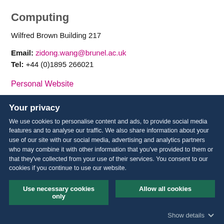Computing
Wilfred Brown Building 217
Email: zidong.wang@brunel.ac.uk
Tel: +44 (0)1895 266021
Personal Website
Your privacy
We use cookies to personalise content and ads, to provide social media features and to analyse our traffic. We also share information about your use of our site with our social media, advertising and analytics partners who may combine it with other information that you've provided to them or that they've collected from your use of their services. You consent to our cookies if you continue to use our website.
Use necessary cookies only
Allow all cookies
Show details